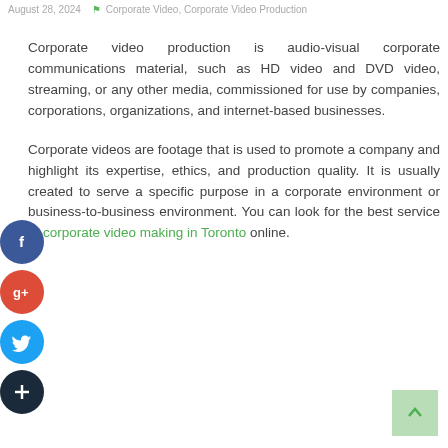August 28, 2024   Corporate Video, Corporate Video Production
Corporate video production is audio-visual corporate communications material, such as HD video and DVD video, streaming, or any other media, commissioned for use by companies, corporations, organizations, and internet-based businesses.
Corporate videos are footage that is used to promote a company and highlight its expertise, ethics, and production quality. It is usually created to serve a specific purpose in a corporate environment or business-to-business environment. You can look for the best service of corporate video making in Toronto online.